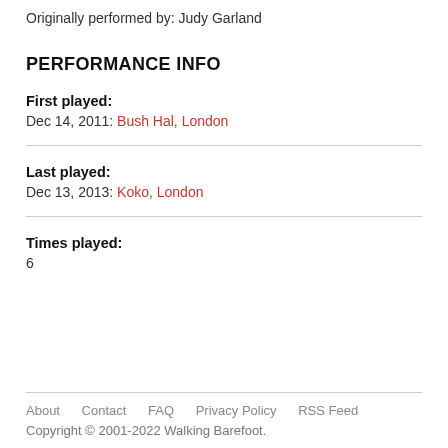Originally performed by: Judy Garland
PERFORMANCE INFO
First played:
Dec 14, 2011: Bush Hal, London
Last played:
Dec 13, 2013: Koko, London
Times played:
6
About   Contact   FAQ   Privacy Policy   RSS Feed
Copyright © 2001-2022 Walking Barefoot.